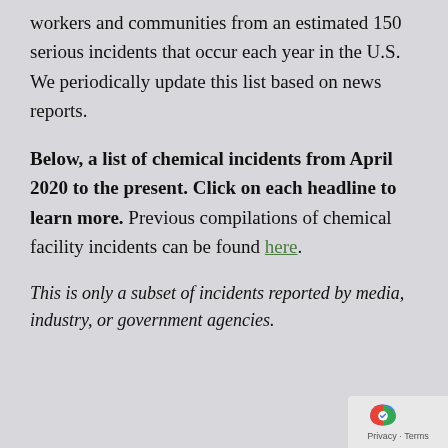workers and communities from an estimated 150 serious incidents that occur each year in the U.S. We periodically update this list based on news reports.
Below, a list of chemical incidents from April 2020 to the present. Click on each headline to learn more. Previous compilations of chemical facility incidents can be found here.
This is only a subset of incidents reported by media, industry, or government agencies.